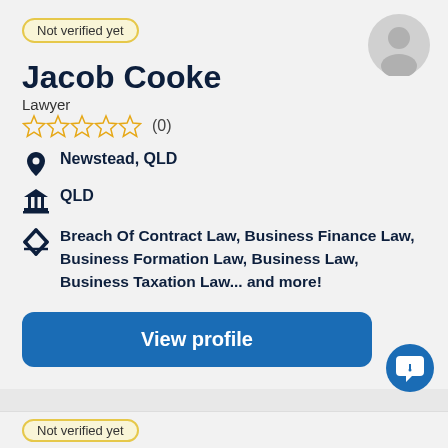Not verified yet
Jacob Cooke
Lawyer
(0) — 0 out of 5 stars
Newstead, QLD
QLD
Breach Of Contract Law, Business Finance Law, Business Formation Law, Business Law, Business Taxation Law... and more!
View profile
Not verified yet